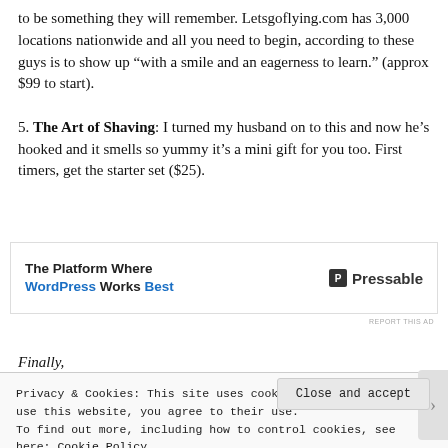to be something they will remember. Letsgoflying.com has 3,000 locations nationwide and all you need to begin, according to these guys is to show up “with a smile and an eagerness to learn.” (approx $99 to start). 5. The Art of Shaving: I turned my husband on to this and now he’s hooked and it smells so yummy it’s a mini gift for you too. First timers, get the starter set ($25).
[Figure (other): Advertisement banner for Pressable: 'The Platform Where WordPress Works Best' with Pressable logo]
Finally,
Privacy & Cookies: This site uses cookies. By continuing to use this website, you agree to their use. To find out more, including how to control cookies, see here: Cookie Policy
Close and accept